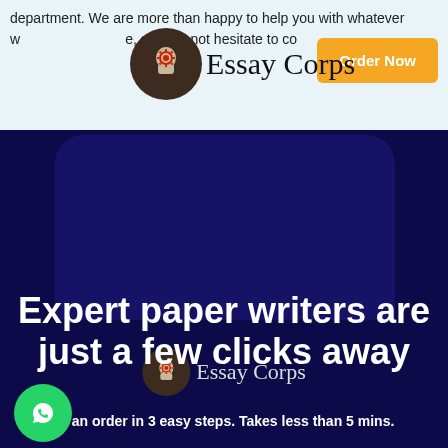department. We are more than happy to help you with whatever you need, so do not hesitate to co...
[Figure (logo): Essay Corps logo with gear/head icon and cursive text, top section]
[Figure (logo): Order Now button - amber/orange rounded rectangle]
[Figure (screenshot): Dark navy background section with laptop device overlay shape]
[Figure (logo): Essay Corps logo centered in dark navy section]
Expert paper writers are just a few clicks away
e an order in 3 easy steps. Takes less than 5 mins.
[Figure (logo): Green WhatsApp circular button with phone icon]